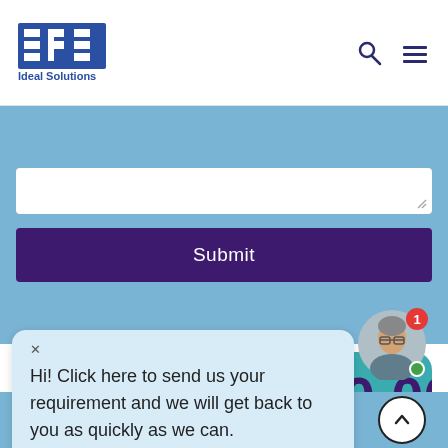[Figure (logo): SPS Ideal Solutions logo with blue blocks and text]
[Figure (screenshot): Website navigation with search and menu icons]
[Figure (screenshot): Form area with textarea and Submit button on light blue background]
[Figure (infographic): Teal banner: FINANCE UP TO $250,000 In Equipment Application with money bag illustration]
Hi! Click here to send us your requirement and we will get back to you as quickly as we can.
[Figure (photo): Avatar of a man with notification badge showing 1]
[Figure (screenshot): Footer bar with phone icon, email icon, and scroll-to-top button]